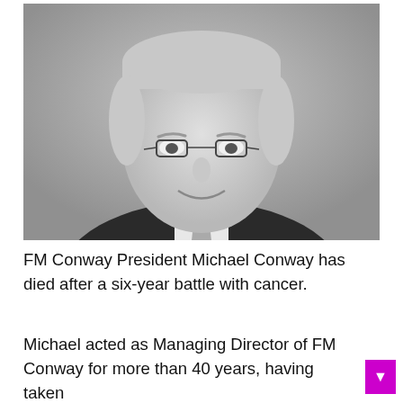[Figure (photo): Black and white portrait photograph of an older man with grey hair, glasses, wearing a dark suit and patterned tie, smiling at the camera against a light grey background.]
FM Conway President Michael Conway has died after a six-year battle with cancer.
Michael acted as Managing Director of FM Conway for more than 40 years, having taken over the reins from his father, Frank Conway...